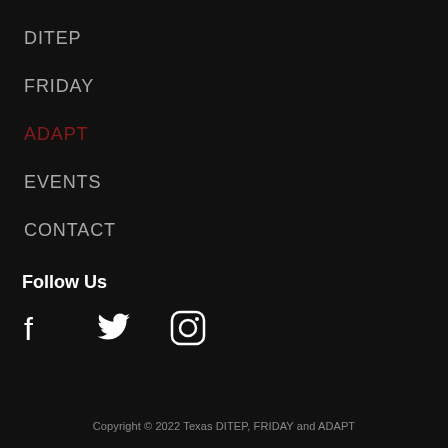DITEP
FRIDAY
ADAPT
EVENTS
CONTACT
Follow Us
[Figure (illustration): Social media icons: Facebook, Twitter, Instagram]
Copyright © 2022 Texas DITEP, FRIDAY and ADAPT